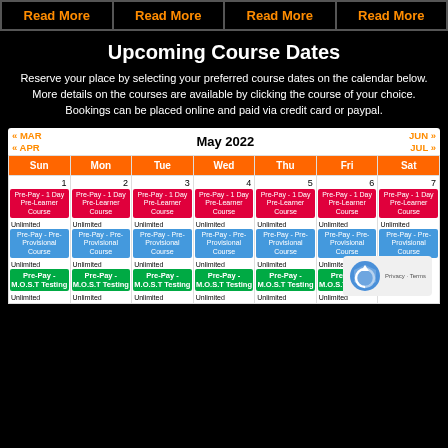|  |  |  |  |
| --- | --- | --- | --- |
| Read More | Read More | Read More | Read More |
Upcoming Course Dates
Reserve your place by selecting your preferred course dates on the calendar below. More details on the courses are available by clicking the course of your choice. Bookings can be placed online and paid via credit card or paypal.
| Sun | Mon | Tue | Wed | Thu | Fri | Sat |
| --- | --- | --- | --- | --- | --- | --- |
| 1 | 2 | 3 | 4 | 5 | 6 | 7 |